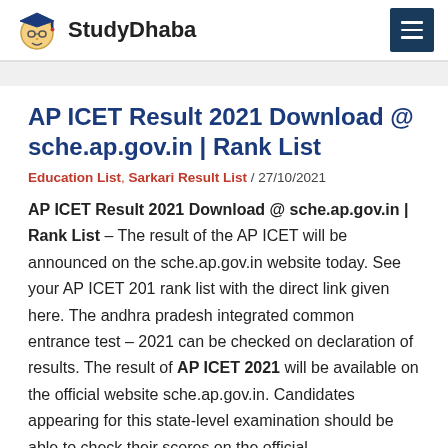StudyDhaba
AP ICET Result 2021 Download @ sche.ap.gov.in | Rank List
Education List, Sarkari Result List / 27/10/2021
AP ICET Result 2021 Download @ sche.ap.gov.in | Rank List – The result of the AP ICET will be announced on the sche.ap.gov.in website today. See your AP ICET 201 rank list with the direct link given here. The andhra pradesh integrated common entrance test – 2021 can be checked on declaration of results. The result of AP ICET 2021 will be available on the official website sche.ap.gov.in. Candidates appearing for this state-level examination should be able to check their scores on the official